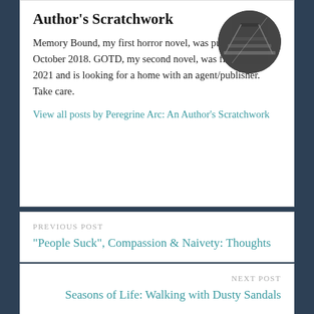Author's Scratchwork
[Figure (photo): Circular black and white photograph of a staircase with dramatic lighting]
Memory Bound, my first horror novel, was published in October 2018. GOTD, my second novel, was finished Dec. 2021 and is looking for a home with an agent/publisher. Take care.
View all posts by Peregrine Arc: An Author's Scratchwork
PREVIOUS POST
“People Suck”, Compassion & Naivety: Thoughts
NEXT POST
Seasons of Life: Walking with Dusty Sandals